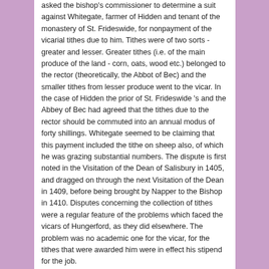asked the bishop's commissioner to determine a suit against Whitegate, farmer of Hidden and tenant of the monastery of St. Frideswide, for nonpayment of the vicarial tithes due to him. Tithes were of two sorts - greater and lesser. Greater tithes (i.e. of the main produce of the land - corn, oats, wood etc.) belonged to the rector (theoretically, the Abbot of Bec) and the smaller tithes from lesser produce went to the vicar. In the case of Hidden the prior of St. Frideswide 's and the Abbey of Bec had agreed that the tithes due to the rector should be commuted into an annual modus of forty shillings. Whitegate seemed to be claiming that this payment included the tithe on sheep also, of which he was grazing substantial numbers. The dispute is first noted in the Visitation of the Dean of Salisbury in 1405, and dragged on through the next Visitation of the Dean in 1409, before being brought by Napper to the Bishop in 1410. Disputes concerning the collection of tithes were a regular feature of the problems which faced the vicars of Hungerford, as they did elsewhere. The problem was no academic one for the vicar, for the tithes that were awarded him were in effect his stipend for the job.
Nor was this the end of Napper's troubles, for in those same years 1405 to 1410 the parish was rocked by internal dissent among the parishioners [24]. Juliana Farman belonged to a prominent family of local landowners, strongly attached to the Hungerfords. She held strong and probably heretical views,